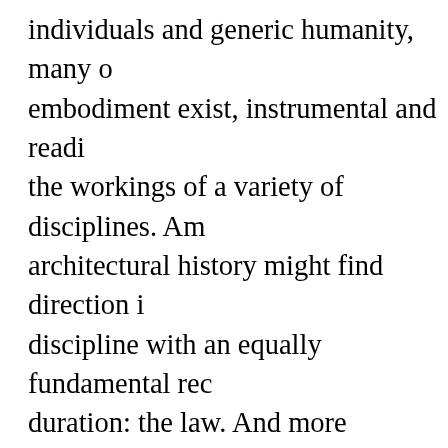individuals and generic humanity, many of embodiment exist, instrumental and readi the workings of a variety of disciplines. Am architectural history might find direction i discipline with an equally fundamental rec duration: the law. And more specifically, in manifestations of legal subjectivities, embo persons, which attain qualities of duration models of intention, motive, and desire. Th follow examine two cases, not to offer a def interpretation of their details, but in order on modalities of embodiment itself, and to altered focus on the properties and means might adjust the contours of architectural introducing differentiated temporalities al